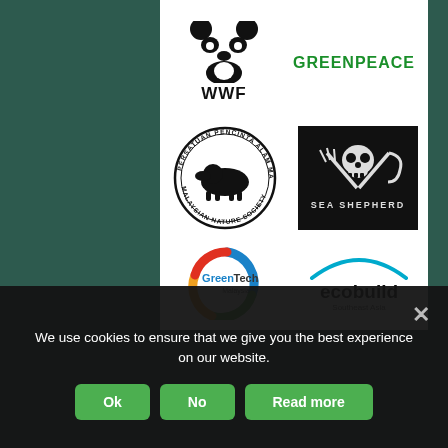[Figure (logo): WWF panda logo with 'WWF' text in bold black]
[Figure (logo): Greenpeace logo in green stylized lettering]
[Figure (logo): Malaysian Nature Society circular logo with tapir and text 'Persatuan Pencinta Alam Malaysia · Malaysian Nature Society']
[Figure (logo): Sea Shepherd black logo with skull and crossed trident/hook, text 'SEA SHEPHERD']
[Figure (logo): GreenTech Malaysia circular swirl logo in blue/green/orange/red with text]
[Figure (logo): ecobuild Southeast Asia logo with cyan arc above text]
We use cookies to ensure that we give you the best experience on our website.
Ok
No
Read more